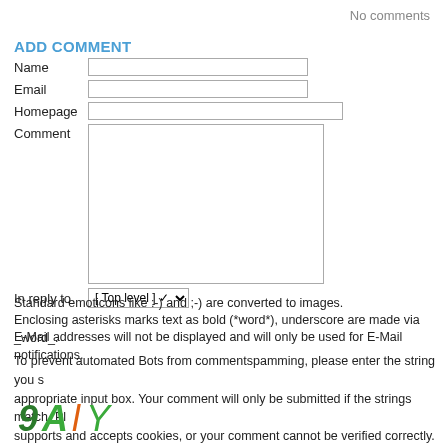No comments
ADD COMMENT
[Figure (screenshot): Web form with Name, Email, Homepage input fields, a Comment textarea, In reply to dropdown set to [Top level], and informational text about emoticons, bold formatting, and email privacy. A CAPTCHA image with characters 9 A l Y is shown at the bottom.]
Standard emoticons like :-) and ;-) are converted to images.
Enclosing asterisks marks text as bold (*word*), underscore are made via _word_.
E-Mail addresses will not be displayed and will only be used for E-Mail notifications.
To prevent automated Bots from commentspamming, please enter the string you s appropriate input box. Your comment will only be submitted if the strings match. Pl supports and accepts cookies, or your comment cannot be verified correctly.
[Figure (other): CAPTCHA image showing handwritten-style characters: 9 A l Y in green and orange colors]